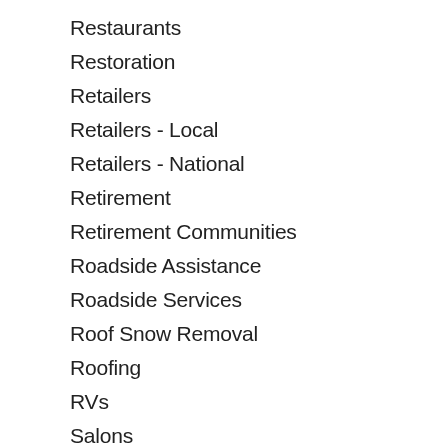Restaurants
Restoration
Retailers
Retailers - Local
Retailers - National
Retirement
Retirement Communities
Roadside Assistance
Roadside Services
Roof Snow Removal
Roofing
RVs
Salons
Sandblasting Service
Screen Repair